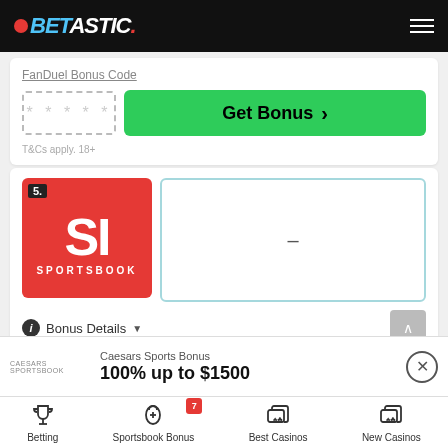BETASTIC
FanDuel Bonus Code
***** Get Bonus >
T&Cs apply. 18+
[Figure (logo): SI Sportsbook logo — red card with white SI letters and SPORTSBOOK text, numbered 5.]
–
ℹ Bonus Details ▾
SI Sportsbook Bonus Code
Caesars Sports Bonus
100% up to $1500
Betting | Sportsbook Bonus 7 | Best Casinos | New Casinos